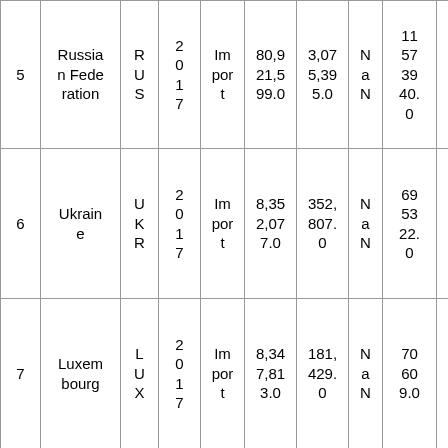| 5 | Russian Federation | RUS | 2017 | Import | 80,921,599.0 | 3,075,395.0 | NaN | 115739 40.0 | 26.31 |
| 6 | Ukraine | UKR | 2017 | Import | 8,352,077.0 | 352,807.0 | NaN | 695322.0 | 23.67 |
| 7 | Luxembourg | LUX | 2017 | Import | 8,347,813.0 | 181,429.0 | NaN | 706090.0 | 46.01 |